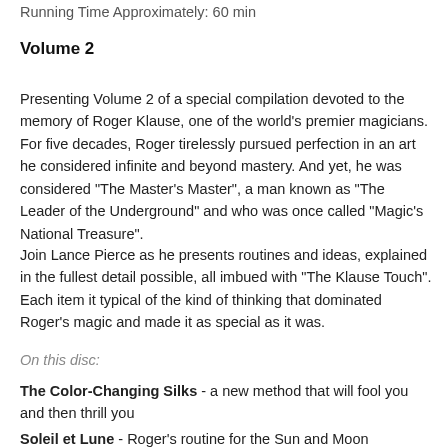Running Time Approximately: 60 min
Volume 2
Presenting Volume 2 of a special compilation devoted to the memory of Roger Klause, one of the world's premier magicians. For five decades, Roger tirelessly pursued perfection in an art he considered infinite and beyond mastery. And yet, he was considered "The Master's Master", a man known as "The Leader of the Underground" and who was once called "Magic's National Treasure".
Join Lance Pierce as he presents routines and ideas, explained in the fullest detail possible, all imbued with "The Klause Touch". Each item it typical of the kind of thinking that dominated Roger's magic and made it as special as it was.
On this disc:
The Color-Changing Silks - a new method that will fool you and then thrill you
Soleil et Lune - Roger's routine for the Sun and Moon